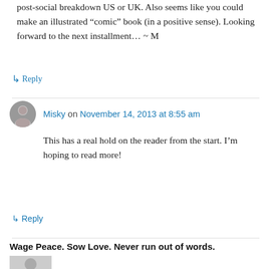post-social breakdown US or UK. Also seems like you could make an illustrated “comic” book (in a positive sense). Looking forward to the next installment… ~ M
↳ Reply
Misky on November 14, 2013 at 8:55 am
This has a real hold on the reader from the start. I’m hoping to read more!
↳ Reply
Wage Peace. Sow Love. Never run out of words.